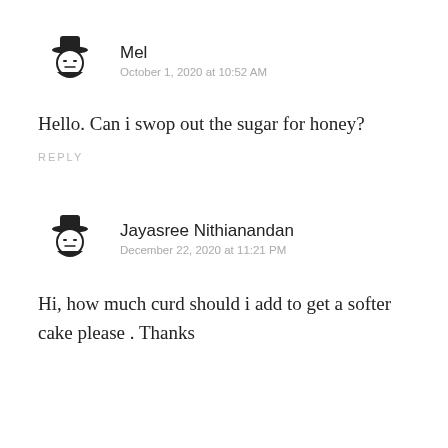Mel
October 1, 2020 at 10:52 AM
Hello. Can i swop out the sugar for honey?
REPLY
Jayasree Nithianandan
December 22, 2020 at 11:21 PM
Hi, how much curd should i add to get a softer cake please . Thanks